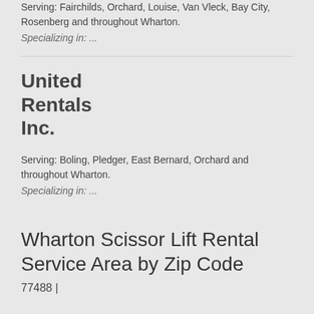Serving: Fairchilds, Orchard, Louise, Van Vleck, Bay City, Rosenberg and throughout Wharton.
Specializing in: ...
United Rentals Inc.
Serving: Boling, Pledger, East Bernard, Orchard and throughout Wharton.
Specializing in: ...
Wharton Scissor Lift Rental Service Area by Zip Code
77488 |